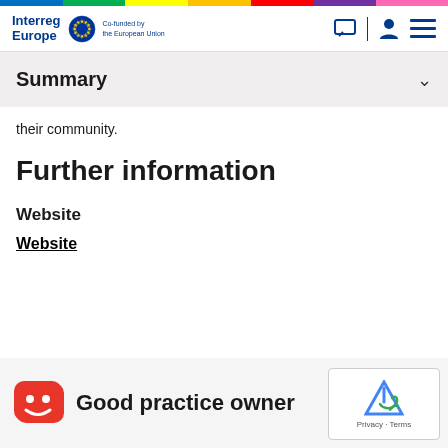Interreg Europe — Co-funded by the European Union
Summary
their community.
Further information
Website
Website
Good practice owner